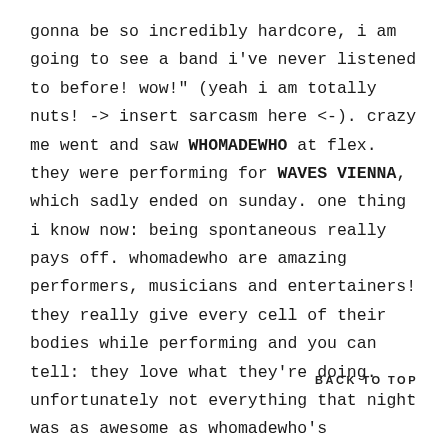gonna be so incredibly hardcore, i am going to see a band i've never listened to before! wow!" (yeah i am totally nuts! -> insert sarcasm here <-). crazy me went and saw WHOMADEWHO at flex. they were performing for WAVES VIENNA, which sadly ended on sunday. one thing i know now: being spontaneous really pays off. whomadewho are amazing performers, musicians and entertainers! they really give every cell of their bodies while performing and you can tell: they love what they're doing. unfortunately not everything that night was as awesome as whomadewho's performance. there are some really bitter and un...
BACK TO TOP